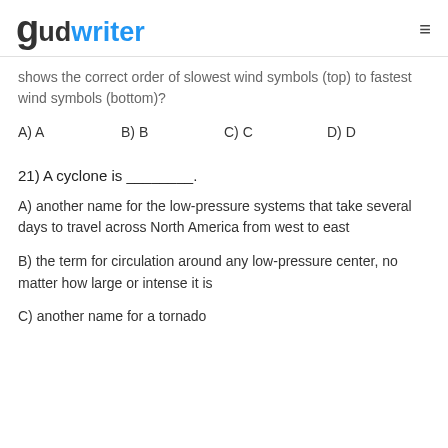gudwriter
shows the correct order of slowest wind symbols (top) to fastest wind symbols (bottom)?
A) A
B) B
C) C
D) D
21) A cyclone is ________.
A) another name for the low-pressure systems that take several days to travel across North America from west to east
B) the term for circulation around any low-pressure center, no matter how large or intense it is
C) another name for a tornado